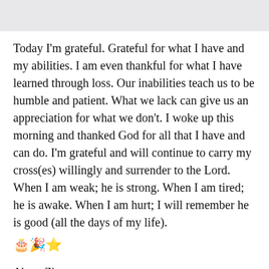Today I'm grateful. Grateful for what I have and my abilities. I am even thankful for what I have learned through loss. Our inabilities teach us to be humble and patient. What we lack can give us an appreciation for what we don't. I woke up this morning and thanked God for all that I have and can do. I'm grateful and will continue to carry my cross(es) willingly and surrender to the Lord. When I am weak; he is strong. When I am tired; he is awake. When I am hurt; I will remember he is good (all the days of my life). 🎂🎉⭐
About Zina